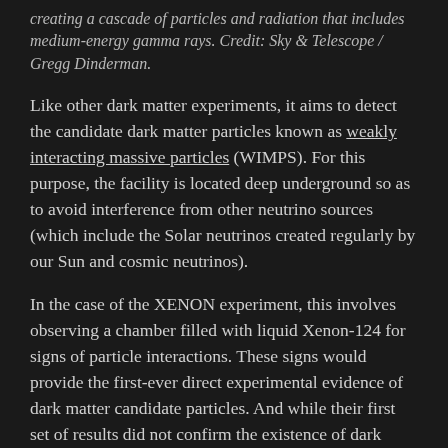creating a cascade of particles and radiation that includes medium-energy gamma rays. Credit: Sky & Telescope / Gregg Dinderman.
Like other dark matter experiments, it aims to detect the candidate dark matter particles known as weakly interacting massive particles (WIMPS). For this purpose, the facility is located deep underground so as to avoid interference from other neutrino sources (which include the Solar neutrinos created regularly by our Sun and cosmic neutrinos).
In the case of the XENON experiment, this involves observing a chamber filled with liquid Xenon-124 for signs of particle interactions. These signs would provide the first-ever direct experimental evidence of dark matter candidate particles. And while their first set of results did not confirm the existence of dark matter, it did observe the decay of Xenon-124 atomic nuclei for the first time.